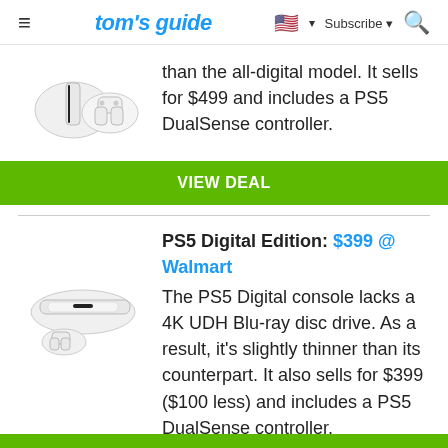tom's guide — Subscribe — Search
than the all-digital model. It sells for $499 and includes a PS5 DualSense controller.
VIEW DEAL
PS5 Digital Edition: $399 @ Walmart
The PS5 Digital console lacks a 4K UDH Blu-ray disc drive. As a result, it's slightly thinner than its counterpart. It also sells for $399 ($100 less) and includes a PS5 DualSense controller.